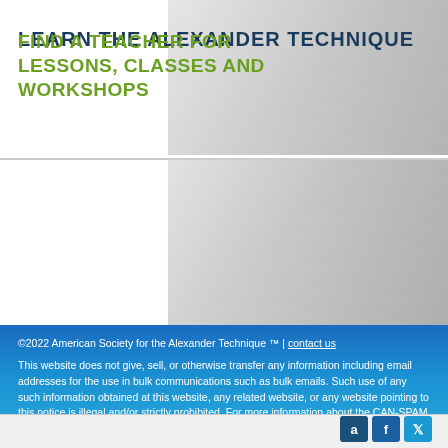LEARN THE ALEXANDER TECHNIQUE
[Figure (photo): Grayscale background photo of people, top banner area]
FIND A TEACHER FOR LESSONS, CLASSES AND WORKSHOPS
[Figure (photo): Grayscale background photo of people, mid banner area]
©2022 American Society for the Alexander Technique ™ | contact us
This website does not give, sell, or otherwise transfer any information including email addresses for the use in bulk communications such as bulk emails. Such use of any such information obtained at this website, any related website, or any website pointing to this notice is illegal and/or strictly prohibited. For more information about the CAN-SPAM Act of 2003 and its requirements for businesses, please refer to the FTC website.